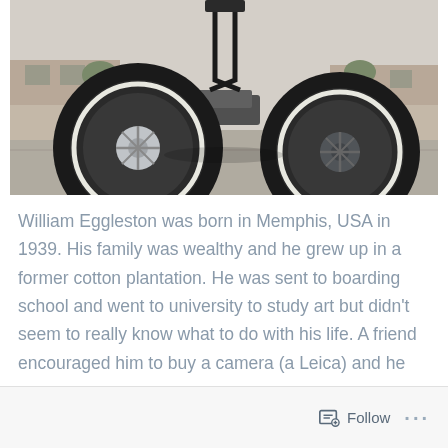[Figure (photo): Low-angle photograph of a tricycle or bicycle viewed from ground level, showing two large black tires with chrome spokes. Suburban houses and a car visible in the background.]
William Eggleston was born in Memphis, USA in 1939. His family was wealthy and he grew up in a former cotton plantation. He was sent to boarding school and went to university to study art but didn't seem to really know what to do with his life. A friend encouraged him to buy a camera (a Leica) and he started experimenting.
Follow ...